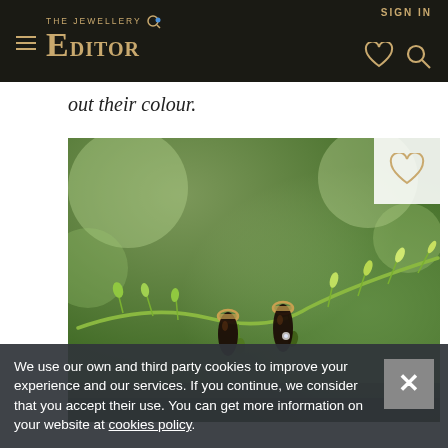SIGN IN | THE JEWELLERY EDITOR
out their colour.
[Figure (photo): Two dark gemstone earrings hanging on a green vine/plant stem with small buds, set against a blurred green background.]
We use our own and third party cookies to improve your experience and our services. If you continue, we consider that you accept their use. You can get more information on your website at cookies policy.